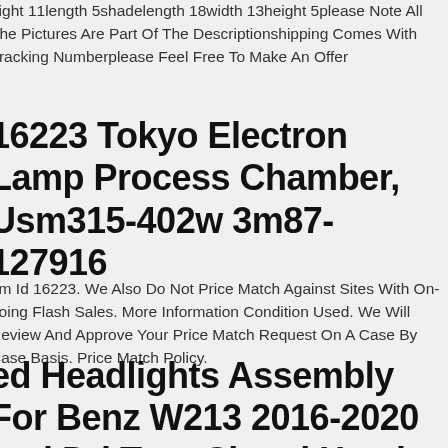eight 11length 5shadelength 18width 13height 5please Note All The Pictures Are Part Of The Descriptionshipping Comes With Tracking Numberplease Feel Free To Make An Offer
16223 Tokyo Electron Lamp Process Chamber, Usm315-402w 3m87-127916
em Id 16223. We Also Do Not Price Match Against Sites With On-going Flash Sales. More Information Condition Used. We Will Review And Approve Your Price Match Request On A Case By Case Basis. Price Match Policy.
ed Headlights Assembly For Benz W213 2016-2020 Led Drl Turn Signal Head Lamps